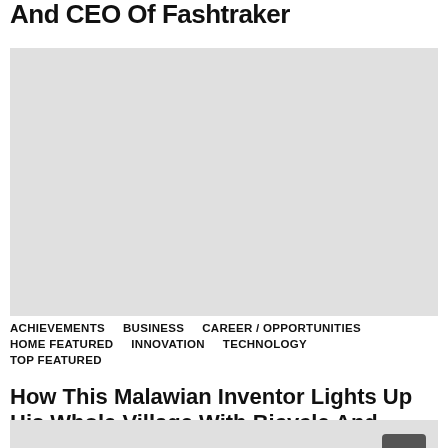And CEO Of Fashtraker
[Figure (photo): Large image placeholder, light gray background]
ACHIEVEMENTS   BUSINESS   CAREER / OPPORTUNITIES   HOME FEATURED   INNOVATION   TECHNOLOGY   TOP FEATURED
How This Malawian Inventor Lights Up His Whole Village With Bicycle And River
[Figure (photo): Image placeholder at bottom, light gray background]